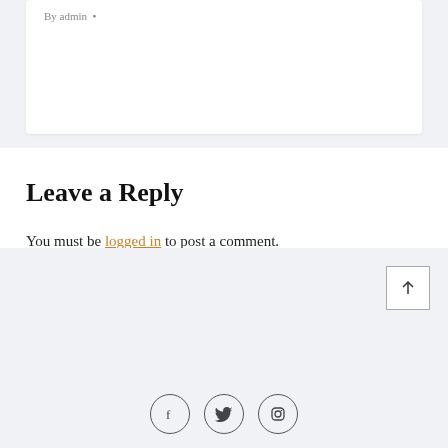By admin •
Leave a Reply
You must be logged in to post a comment.
[Figure (other): Back to top button with upward arrow icon]
[Figure (other): Social media icons: Facebook, Twitter, Instagram in circular outlines]